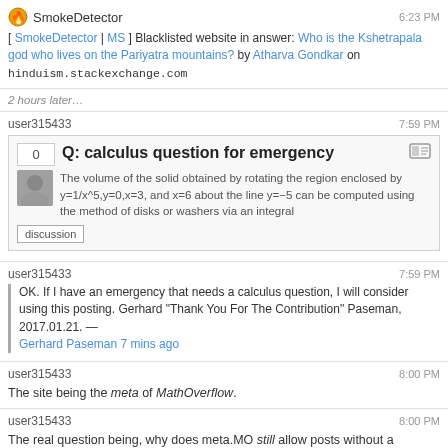SmokeDetector 6:23 PM [ SmokeDetector | MS ] Blacklisted website in answer: Who is the Kshetrapala god who lives on the Pariyatra mountains? by Atharva Gondkar on hinduism.stackexchange.com
2 hours later...
user315433 7:59 PM Q: calculus question for emergency The volume of the solid obtained by rotating the region enclosed by y=1/x^5,y=0,x=3, and x=6 about the line y=-5 can be computed using the method of disks or washers via an integral discussion
user315433 7:59 PM OK. If I have an emergency that needs a calculus question, I will consider using this posting. Gerhard "Thank You For The Contribution" Paseman, 2017.01.21. — Gerhard Paseman 7 mins ago
user315433 8:00 PM The site being the meta of MathOverflow.
user315433 8:00 PM The real question being, why does meta.MO still allow posts without a reputation requirement?
rene 8:04 PM They also have mods with humor ;)